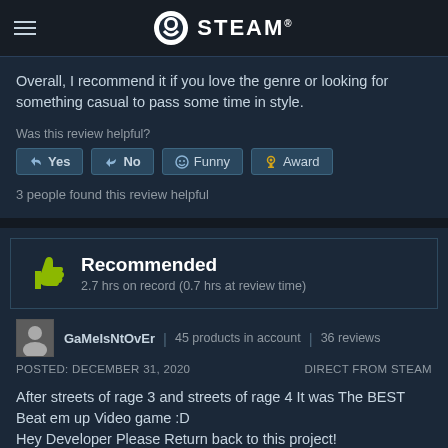STEAM
Overall, I recommend it if you love the genre or looking for something casual to pass some time in style.
Was this review helpful?
Yes  No  Funny  Award
3 people found this review helpful
Recommended
2.7 hrs on record (0.7 hrs at review time)
GaMeIsNtOvEr | 45 products in account | 36 reviews
POSTED: DECEMBER 31, 2020    DIRECT FROM STEAM
After streets of rage 3 and streets of rage 4 It was The BEST Beat em up Video game :D
Hey Developer Please Return back to this project!